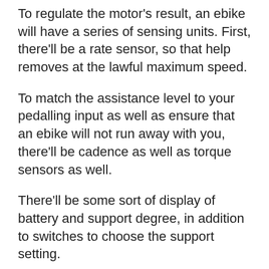To regulate the motor's result, an ebike will have a series of sensing units. First, there'll be a rate sensor, so that help removes at the lawful maximum speed.
To match the assistance level to your pedalling input as well as ensure that an ebike will not run away with you, there'll be cadence as well as torque sensors as well.
There'll be some sort of display of battery and support degree, in addition to switches to choose the support setting.
The screen is typically a bar-mounted LED unit that may likewise provide you speed up, range and array details. More minimal display screens are typically utilized on racier road ebikes